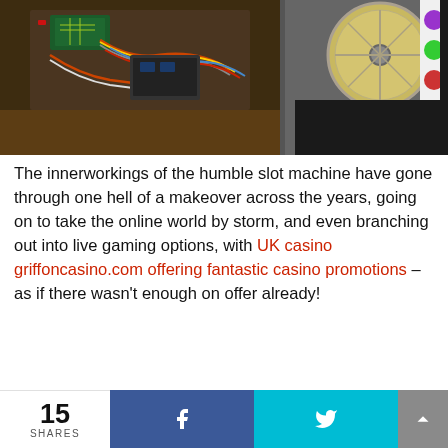[Figure (photo): Interior of a slot machine showing mechanical reels, wiring, and internal components with colorful reel symbols visible on the right side]
The innerworkings of the humble slot machine have gone through one hell of a makeover across the years, going on to take the online world by storm, and even branching out into live gaming options, with UK casino griffoncasino.com offering fantastic casino promotions – as if there wasn't enough on offer already!
15 SHARES  [Facebook share]  [Twitter share]